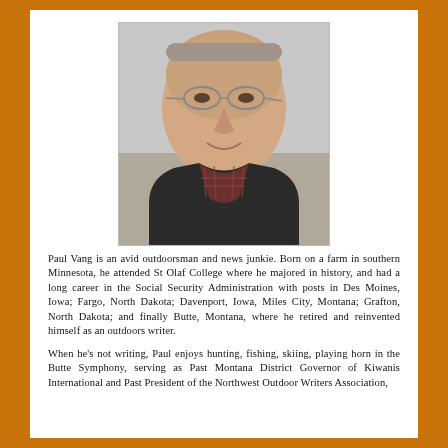[Figure (photo): Headshot photograph of Paul Vang, a man wearing glasses and a dark jacket over a plaid shirt, smiling, outdoors.]
Paul Vang is an avid outdoorsman and news junkie. Born on a farm in southern Minnesota, he attended St Olaf College where he majored in history, and had a long career in the Social Security Administration with posts in Des Moines, Iowa; Fargo, North Dakota; Davenport, Iowa, Miles City, Montana; Grafton, North Dakota; and finally Butte, Montana, where he retired and reinvented himself as an outdoors writer.
When he's not writing, Paul enjoys hunting, fishing, skiing, playing horn in the Butte Symphony, serving as Past Montana District Governor of Kiwanis International and Past President of the Northwest Outdoor Writers Association,